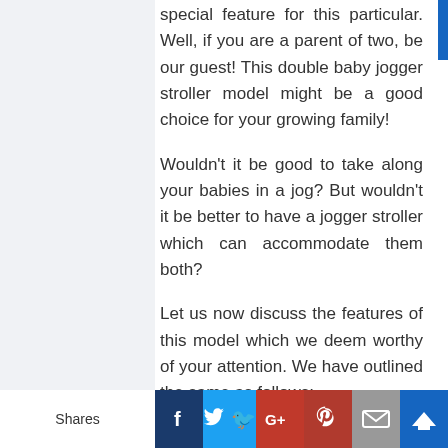special feature for this particular. Well, if you are a parent of two, be our guest! This double baby jogger stroller model might be a good choice for your growing family!
Wouldn't it be good to take along your babies in a jog? But wouldn't it be better to have a jogger stroller which can accommodate them both?
Let us now discuss the features of this model which we deem worthy of your attention. We have outlined the same as follows:
Shares | Facebook | Twitter | Google+ | Pinterest | Email | Crown